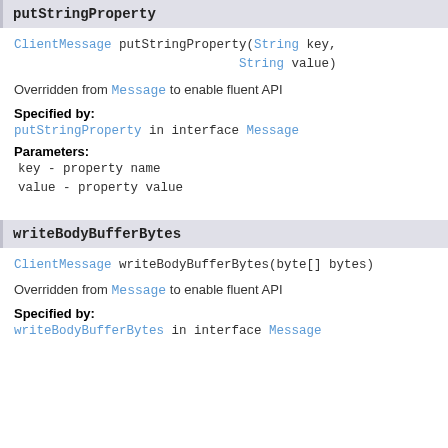putStringProperty
ClientMessage putStringProperty(String key,
                              String value)
Overridden from Message to enable fluent API
Specified by:
putStringProperty in interface Message
Parameters:
key - property name
value - property value
writeBodyBufferBytes
ClientMessage writeBodyBufferBytes(byte[] bytes)
Overridden from Message to enable fluent API
Specified by:
writeBodyBufferBytes in interface Message